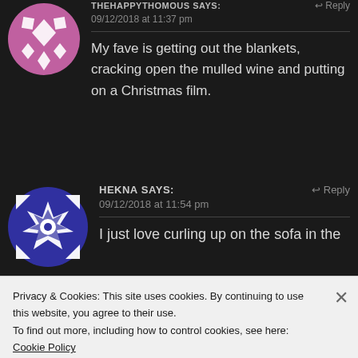[Figure (illustration): Pink/mauve circular avatar with geometric diamond pattern for THEHAPPYTHOMOUS]
THEHAPPYTHOMOUS says:
Reply
09/12/2018 at 11:37 pm
My fave is getting out the blankets, cracking open the mulled wine and putting on a Christmas film.
[Figure (illustration): Blue and white circular avatar with geometric star/quilt pattern for HEKNA]
HEKNA says:
Reply
09/12/2018 at 11:54 pm
I just love curling up on the sofa in the
Privacy & Cookies: This site uses cookies. By continuing to use this website, you agree to their use.
To find out more, including how to control cookies, see here: Cookie Policy
Close and accept